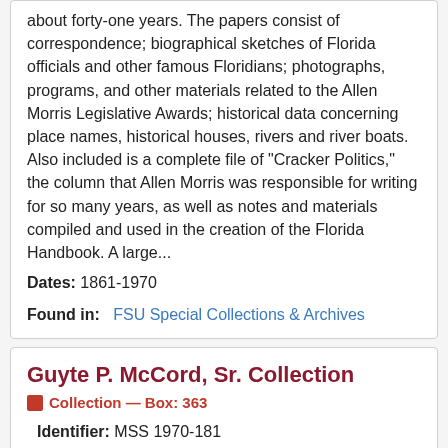about forty-one years. The papers consist of correspondence; biographical sketches of Florida officials and other famous Floridians; photographs, programs, and other materials related to the Allen Morris Legislative Awards; historical data concerning place names, historical houses, rivers and river boats. Also included is a complete file of "Cracker Politics," the column that Allen Morris was responsible for writing for so many years, as well as notes and materials compiled and used in the creation of the Florida Handbook. A large...
Dates: 1861-1970
Found in: FSU Special Collections & Archives
Guyte P. McCord, Sr. Collection
Collection — Box: 363
Identifier: MSS 1970-181
Scope and Contents
Items found in this collection include the personal papers of Guyte McCord, consisting of